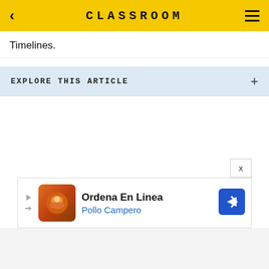CLASSROOM
Timelines.
EXPLORE THIS ARTICLE +
[Figure (screenshot): Advertisement banner for Pollo Campero showing 'Ordena En Linea' with restaurant logo image and navigation arrow icon]